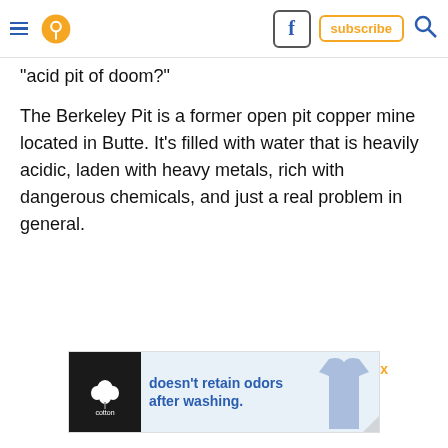Navigation bar with hamburger menu, location icon, Facebook icon, subscribe button, search icon
“acid pit of doom?”
The Berkeley Pit is a former open pit copper mine located in Butte. It’s filled with water that is heavily acidic, laden with heavy metals, rich with dangerous chemicals, and just a real problem in general.
[Figure (screenshot): Cotton advertisement banner: black logo square with cotton plant icon and 'cotton' text, blue background with text 'doesn’t retain odors after washing.' and image of a blue t-shirt]
X (close button for ad)